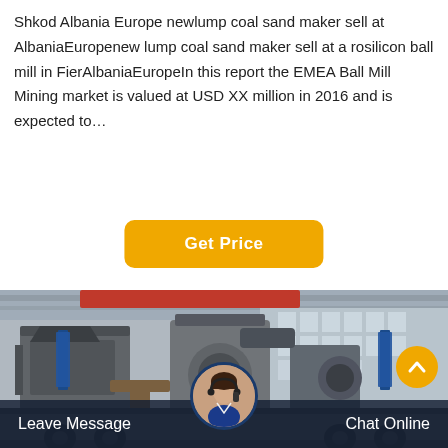Shkod Albania Europe newlump coal sand maker sell at AlbaniaEuropenew lump coal sand maker sell at a rosilicon ball mill in FierAlbaniaEuropeIn this report the EMEA Ball Mill Mining market is valued at USD XX million in 2016 and is expected to…
[Figure (other): Yellow 'Get Price' button with rounded corners on white background]
[Figure (photo): Industrial photo of large mining/crushing machinery inside a factory or warehouse, mounted on a flatbed truck. Red overhead crane visible in the background. Blue Chinese banners on equipment.]
Leave Message   Chat Online